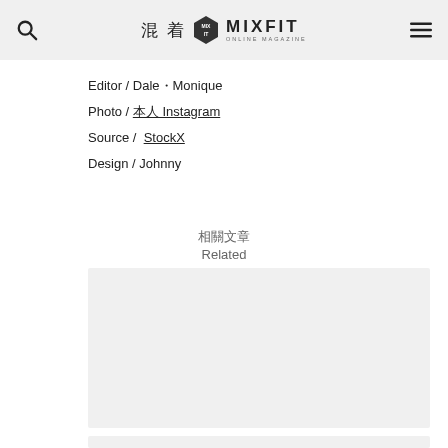混着 MIXFIT ONLINE MAGAZINE
Editor / Dale・Monique
Photo / 本人 Instagram
Source /  StockX
Design / Johnny
相關文章 Related
[Figure (photo): Related article image placeholder box 1 (light grey rectangle)]
[Figure (photo): Related article image placeholder box 2 (partially visible at bottom)]